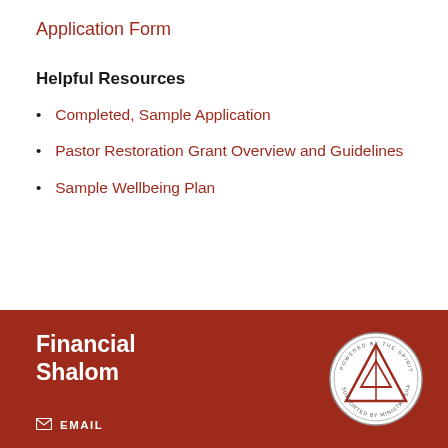Application Form
Helpful Resources
Completed, Sample Application
Pastor Restoration Grant Overview and Guidelines
Sample Wellbeing Plan
Financial Shalom
EMAIL